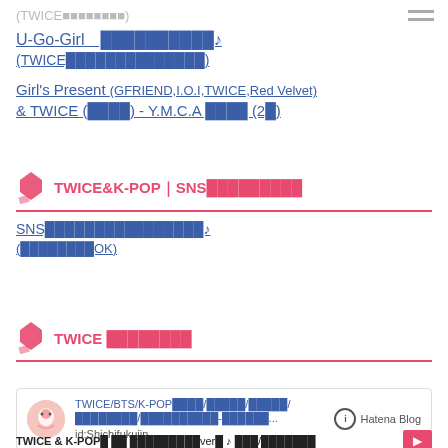(TWICE████████)
U-Go-Girl　██████████♪
(TWICE██████████████)
Girl's Present (GFRIEND,I.O.I,TWICE,Red Velvet)
& TWICE (████) - Y.M.C.A ████ (2█)
TWICE&K-POP｜SNS█████████
SNS████████████████♪
(████████OK)
TWICE ████████
TWICE/BTS/K-POP████/█████/█████/████████/██████████-█████...
id:Shichifukujin
TWICE & K-POP█ ██ █████████ver█ ♪ ███/███████